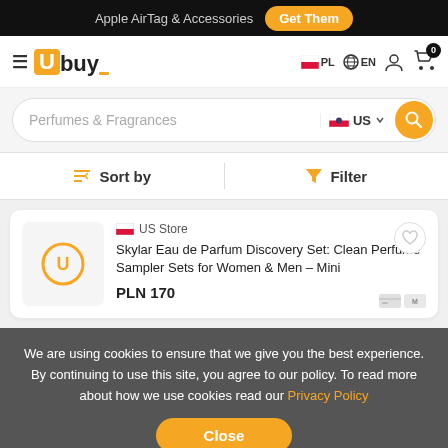Apple AirTag & Accessories  Get Them
[Figure (logo): Ubuy logo with hamburger menu, PL/EN language selectors, user icon, and cart with 0 badge]
Perfumes & Fragrances  US  [search button]
Sort by  |  Filter
US Store
Skylar Eau de Parfum Discovery Set: Clean Perfume Sampler Sets for Women & Men – Mini
PLN 170
We are using cookies to ensure that we give you the best experience. By continuing to use this site, you agree to our policy. To read more about how we use cookies read our Privacy Policy
Close